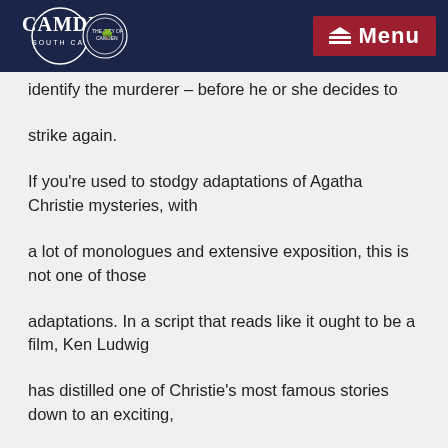Camden South Carolina | Menu
identify the murderer – before he or she decides to
strike again.
If you're used to stodgy adaptations of Agatha Christie mysteries, with
a lot of monologues and extensive exposition, this is not one of those
adaptations. In a script that reads like it ought to be a film, Ken Ludwig
has distilled one of Christie's most famous stories down to an exciting,
fast-paced story full of memorable characters – all